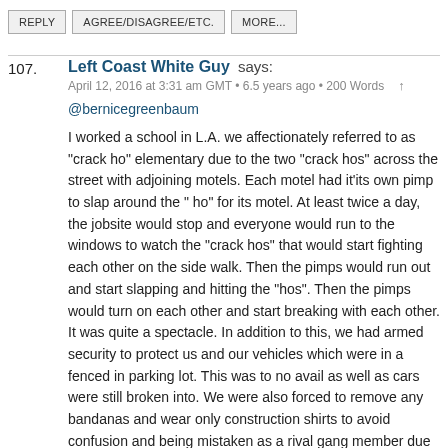REPLY | AGREE/DISAGREE/ETC. | MORE...
107. Left Coast White Guy says:
April 12, 2016 at 3:31 am GMT • 6.5 years ago • 200 Words ↑
@bernicegreenbaum

I worked a school in L.A. we affectionately referred to as "crack ho" elementary due to the two "crack hos" across the street with adjoining motels. Each motel had it'its own pimp to slap around the " ho" for its motel. At least twice a day, the jobsite would stop and everyone would run to the windows to watch the "crack hos" that would start fighting each other on the side walk. Then the pimps would run out and start slapping and hitting the "hos". Then the pimps would turn on each other and start breaking with each other. It was quite a spectacle. In addition to this, we had armed security to protect us and our vehicles which were in a fenced in parking lot. This was to no avail as well as cars were still broken into. We were also forced to remove any bandanas and wear only construction shirts to avoid confusion and being mistaken as a rival gang member due